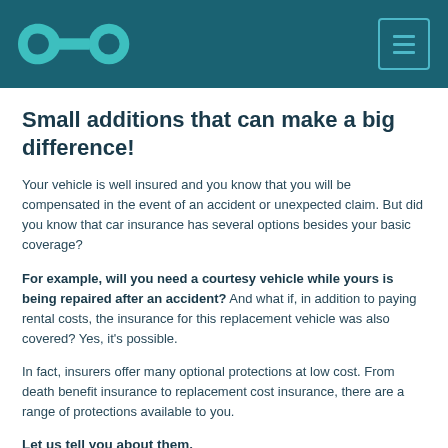[Figure (logo): CO infinity loop logo in teal on dark teal header background]
Small additions that can make a big difference!
Your vehicle is well insured and you know that you will be compensated in the event of an accident or unexpected claim. But did you know that car insurance has several options besides your basic coverage?
For example, will you need a courtesy vehicle while yours is being repaired after an accident? And what if, in addition to paying rental costs, the insurance for this replacement vehicle was also covered? Yes, it's possible.
In fact, insurers offer many optional protections at low cost. From death benefit insurance to replacement cost insurance, there are a range of protections available to you.
Let us tell you about them.